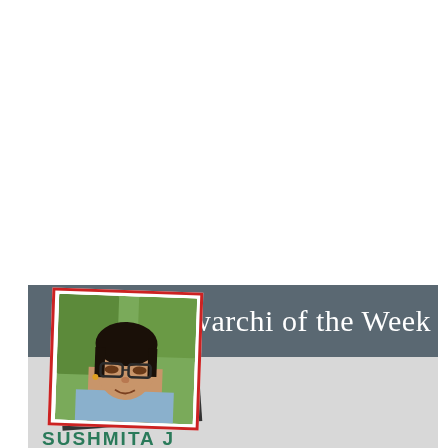Bawarchi of the Week
[Figure (photo): Portrait photo of a young woman wearing glasses, with red-bordered photo frame effect and black backing card, tilted slightly]
SUSHMITA J